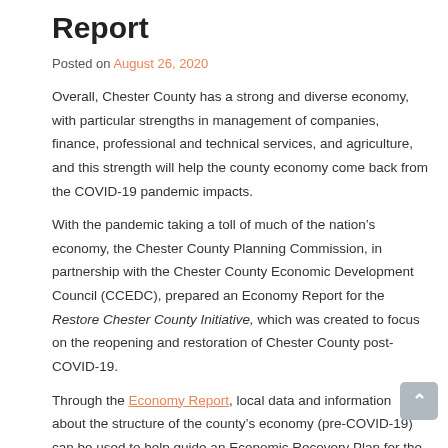Report
Posted on August 26, 2020
Overall, Chester County has a strong and diverse economy, with particular strengths in management of companies, finance, professional and technical services, and agriculture, and this strength will help the county economy come back from the COVID-19 pandemic impacts.
With the pandemic taking a toll of much of the nation’s economy, the Chester County Planning Commission, in partnership with the Chester County Economic Development Council (CCEDC), prepared an Economy Report for the Restore Chester County Initiative, which was created to focus on the reopening and restoration of Chester County post-COVID-19.
Through the Economy Report, local data and information about the structure of the county’s economy (pre-COVID-19) can be used to help guide an Economic Recovery Plan for the county.